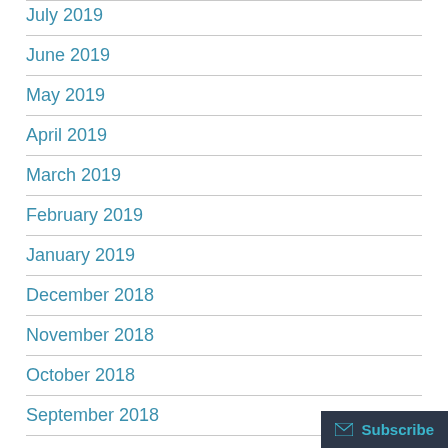July 2019
June 2019
May 2019
April 2019
March 2019
February 2019
January 2019
December 2018
November 2018
October 2018
September 2018
August 2018